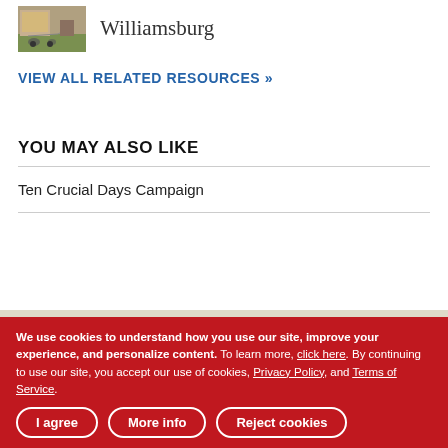[Figure (photo): Historical photo of horse-drawn carriage in Williamsburg]
Williamsburg
VIEW ALL RELATED RESOURCES »
YOU MAY ALSO LIKE
Ten Crucial Days Campaign
[Figure (map): Red banner map section with diamond marker and horizontal line]
We use cookies to understand how you use our site, improve your experience, and personalize content. To learn more, click here. By continuing to use our site, you accept our use of cookies, Privacy Policy, and Terms of Service.
I agree   More info   Reject cookies